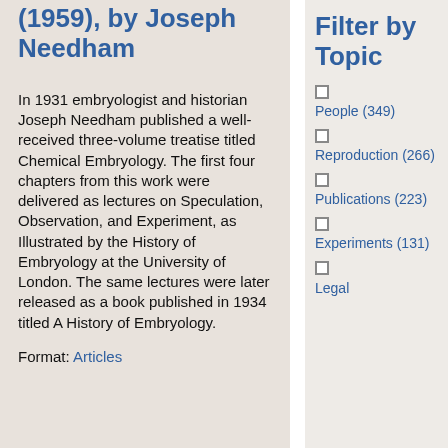(1959), by Joseph Needham
In 1931 embryologist and historian Joseph Needham published a well-received three-volume treatise titled Chemical Embryology. The first four chapters from this work were delivered as lectures on Speculation, Observation, and Experiment, as Illustrated by the History of Embryology at the University of London. The same lectures were later released as a book published in 1934 titled A History of Embryology.
Format: Articles
Filter by Topic
People (349)
Reproduction (266)
Publications (223)
Experiments (131)
Legal